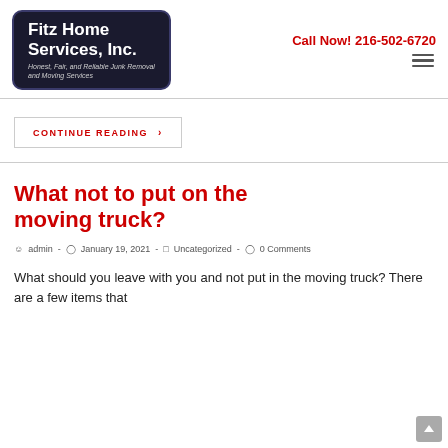Fitz Home Services, Inc. — Honest, Fair, and Reliable Junk Removal and Moving Services | Call Now! 216-502-6720
CONTINUE READING  >
What not to put on the moving truck?
admin - January 19, 2021 - Uncategorized - 0 Comments
What should you leave with you and not put in the moving truck?   There are a few items that